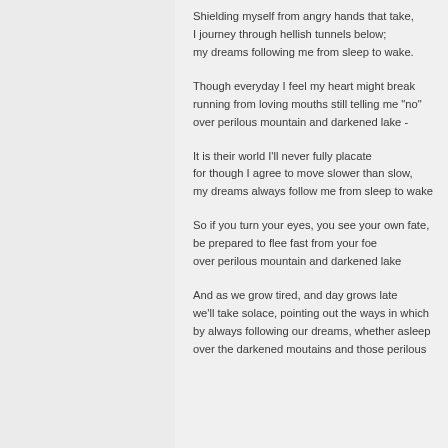Shielding myself from angry hands that take,
I journey through hellish tunnels below;
my dreams following me from sleep to wake.

Though everyday I feel my heart might break
running from loving mouths still telling me "no"
over perilous mountain and darkened lake -

It is their world I'll never fully placate
for though I agree to move slower than slow,
my dreams always follow me from sleep to wake

So if you turn your eyes, you see your own fate,
be prepared to flee fast from your foe
over perilous mountain and darkened lake

And as we grow tired, and day grows late
we'll take solace, pointing out the ways in which
by always following our dreams, whether asleep
over the darkened moutains and those perilous